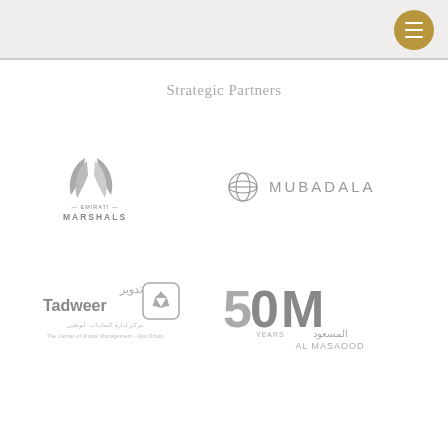Strategic Partners
[Figure (logo): Emirati Marshals logo in grayscale — stylized wing/flame icon above text 'EMIRATI MARSHALS']
[Figure (logo): Mubadala logo in grayscale — globe/atom icon with text 'MUBADALA']
[Figure (logo): Tadweer (The Center of Waste Management – Abu Dhabi) logo in grayscale with Arabic text and recycling icon]
[Figure (logo): Al Masaood 50 Years logo in grayscale with '50M YEARS' stylized text and Arabic text 'AL MASAOOD']